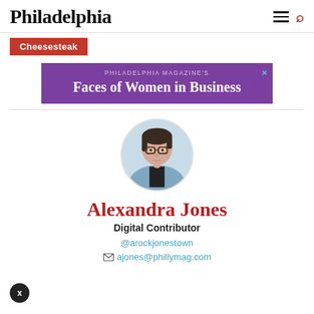Philadelphia
Cheesesteak
[Figure (infographic): Purple advertisement banner for Philadelphia Magazine's Faces of Women in Business]
[Figure (photo): Circular profile photo of Alexandra Jones, wearing glasses and a blue denim jacket]
Alexandra Jones
Digital Contributor
@arockjonestown
ajones@phillymag.com